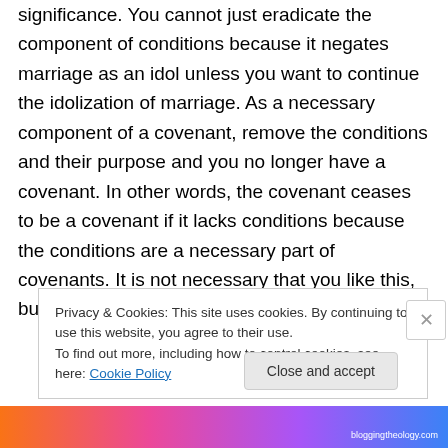significance. You cannot just eradicate the component of conditions because it negates marriage as an idol unless you want to continue the idolization of marriage. As a necessary component of a covenant, remove the conditions and their purpose and you no longer have a covenant. In other words, the covenant ceases to be a covenant if it lacks conditions because the conditions are a necessary part of covenants. It is not necessary that you like this, but you logically have to accept it.
Privacy & Cookies: This site uses cookies. By continuing to use this website, you agree to their use.
To find out more, including how to control cookies, see here: Cookie Policy